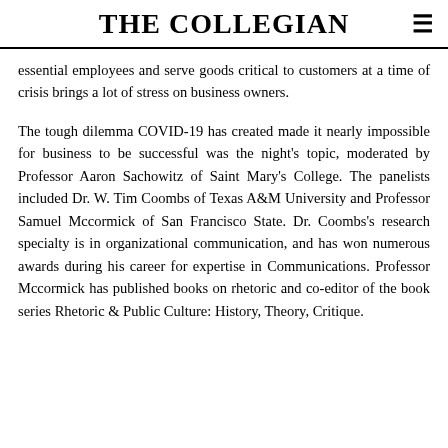THE COLLEGIAN
essential employees and serve goods critical to customers at a time of crisis brings a lot of stress on business owners.
The tough dilemma COVID-19 has created made it nearly impossible for business to be successful was the night's topic, moderated by Professor Aaron Sachowitz of Saint Mary's College. The panelists included Dr. W. Tim Coombs of Texas A&M University and Professor Samuel Mccormick of San Francisco State. Dr. Coombs's research specialty is in organizational communication, and has won numerous awards during his career for expertise in Communications. Professor Mccormick has published books on rhetoric and co-editor of the book series Rhetoric & Public Culture: History, Theory, Critique.